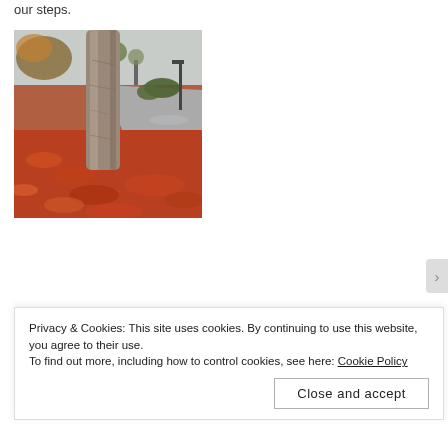our steps.
[Figure (photo): Autumn scene with a large tree trunk in the foreground, fallen orange and red leaves covering the ground, a wet road visible in the background, and bare/sparse trees and bushes in the distance on an overcast day.]
Privacy & Cookies: This site uses cookies. By continuing to use this website, you agree to their use.
To find out more, including how to control cookies, see here: Cookie Policy
Close and accept